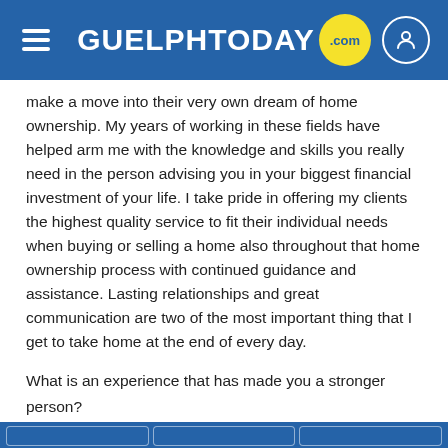GUELPHTODAY.com
make a move into their very own dream of home ownership. My years of working in these fields have helped arm me with the knowledge and skills you really need in the person advising you in your biggest financial investment of your life. I take pride in offering my clients the highest quality service to fit their individual needs when buying or selling a home also throughout that home ownership process with continued guidance and assistance. Lasting relationships and great communication are two of the most important thing that I get to take home at the end of every day.
What is an experience that has made you a stronger person?
Raising a Daughter
What do you love about being a REALTOR?
The great people I get to work with! My clients!
What is your favourite quote or verse?
Life is too short, buy the shoes